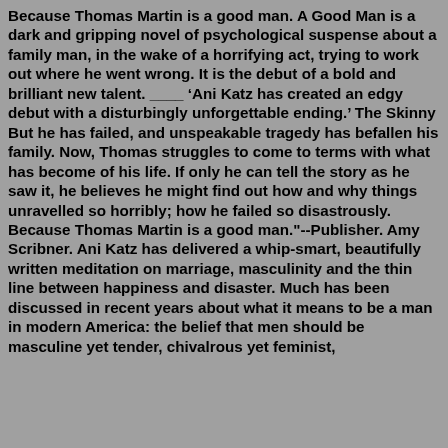Because Thomas Martin is a good man. A Good Man is a dark and gripping novel of psychological suspense about a family man, in the wake of a horrifying act, trying to work out where he went wrong. It is the debut of a bold and brilliant new talent. ____ ‘Ani Katz has created an edgy debut with a disturbingly unforgettable ending.’ The Skinny But he has failed, and unspeakable tragedy has befallen his family. Now, Thomas struggles to come to terms with what has become of his life. If only he can tell the story as he saw it, he believes he might find out how and why things unravelled so horribly; how he failed so disastrously. Because Thomas Martin is a good man."--Publisher. Amy Scribner. Ani Katz has delivered a whip-smart, beautifully written meditation on marriage, masculinity and the thin line between happiness and disaster. Much has been discussed in recent years about what it means to be a man in modern America: the belief that men should be masculine yet tender, chivalrous yet feminist,